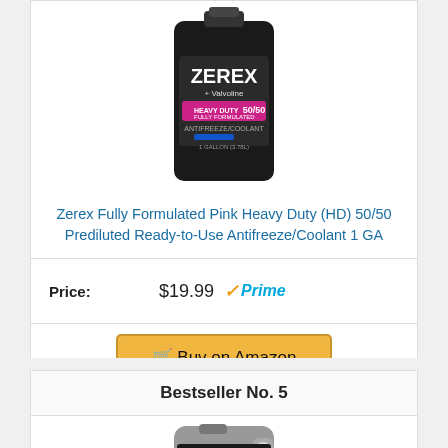[Figure (photo): Zerex by Valvoline Heavy Duty Fully Formulated 50/50 Antifreeze/Coolant 1 Gallon bottle with pink label]
Zerex Fully Formulated Pink Heavy Duty (HD) 50/50 Prediluted Ready-to-Use Antifreeze/Coolant 1 GA
Price: $19.99 Prime
Buy on Amazon
Bestseller No. 5
[Figure (photo): Hot Shots Sport Antifreeze/Coolant Global Extended Life 50/50 Prediluted gray bottle]